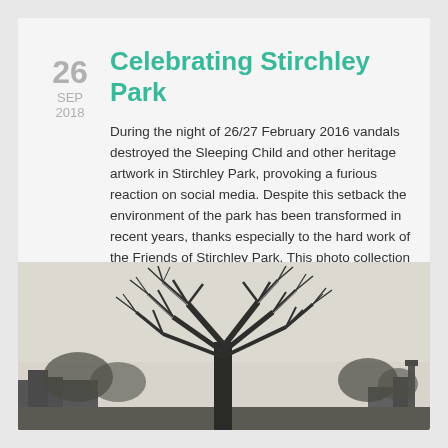Celebrating Stirchley Park
26 SEP 2018
During the night of 26/27 February 2016 vandals destroyed the Sleeping Child and other heritage artwork in Stirchley Park, provoking a furious reaction on social media. Despite this setback the environment of the park has been transformed in recent years, thanks especially to the hard work of the Friends of Stirchley Park. This photo collection is my tribute to their efforts and a celebration of the wonderful community space the park has become.
[Figure (photo): Black and white or desaturated winter photograph of a large bare tree in Stirchley Park with snow-covered branches, buildings visible in background, overcast sky]